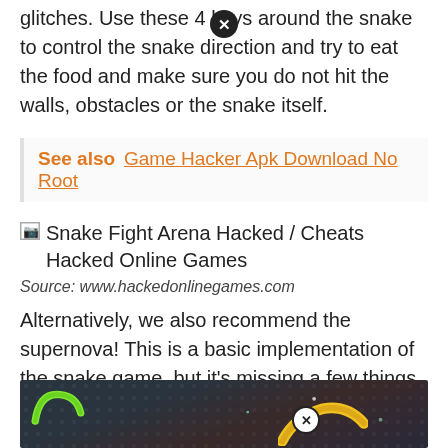glitches. Use these 4 keys around the snake to control the snake direction and try to eat the food and make sure you do not hit the walls, obstacles or the snake itself.
See also  Game Hacker Apk Download No Root
[Figure (photo): Broken image placeholder for Snake Fight Arena Hacked / Cheats Hacked Online Games]
Source: www.hackedonlinegames.com
Alternatively, we also recommend the supernova! This is a basic implementation of the snake game, but it's missing a few things intentionally and they're left as.
[Figure (screenshot): Screenshot of Snake Fight Arena game showing green and yellow snake on dark background]